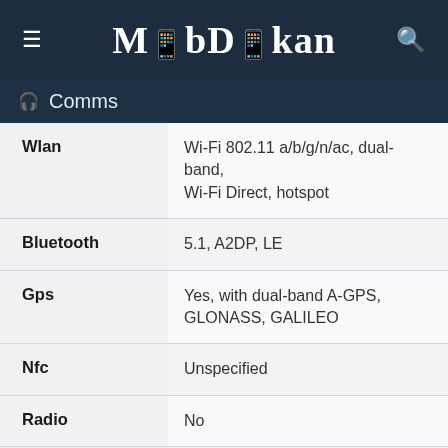MobDokan
Comms
| Feature | Value |
| --- | --- |
| Wlan | Wi-Fi 802.11 a/b/g/n/ac, dual-band, Wi-Fi Direct, hotspot |
| Bluetooth | 5.1, A2DP, LE |
| Gps | Yes, with dual-band A-GPS, GLONASS, GALILEO |
| Nfc | Unspecified |
| Radio | No |
| Usb | USB Type-C 2.0 |
Features
| Feature | Value |
| --- | --- |
| Sensors | Fingerprint (rear-mounted), accelerometer, gyro, proximity, compass, barometer |